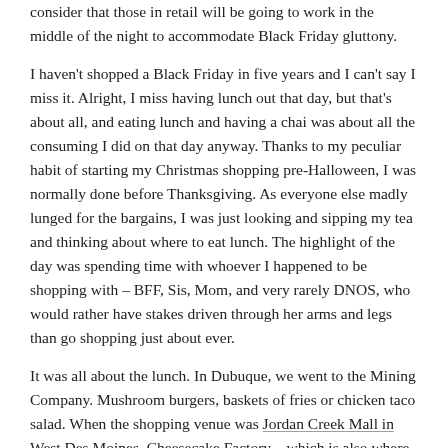consider that those in retail will be going to work in the middle of the night to accommodate Black Friday gluttony.
I haven't shopped a Black Friday in five years and I can't say I miss it. Alright, I miss having lunch out that day, but that's about all, and eating lunch and having a chai was about all the consuming I did on that day anyway. Thanks to my peculiar habit of starting my Christmas shopping pre-Halloween, I was normally done before Thanksgiving. As everyone else madly lunged for the bargains, I was just looking and sipping my tea and thinking about where to eat lunch. The highlight of the day was spending time with whoever I happened to be shopping with – BFF, Sis, Mom, and very rarely DNOS, who would rather have stakes driven through her arms and legs than go shopping just about ever.
It was all about the lunch. In Dubuque, we went to the Mining Company. Mushroom burgers, baskets of fries or chicken taco salad. When the shopping venue was Jordan Creek Mall in West Des Moines, Cheesecake Factory – which is also where Sis and I went when we took bus trips down to Kansas City to Christmas shop in the downtown.